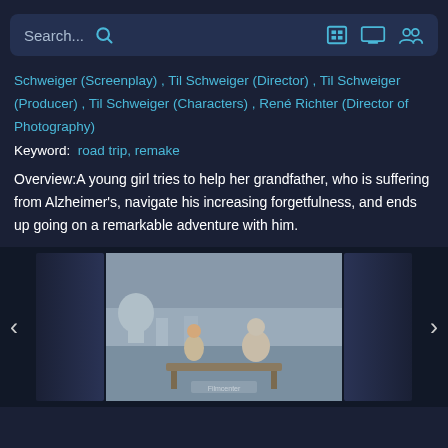Search...
Schweiger (Screenplay) , Til Schweiger (Director) , Til Schweiger (Producer) , Til Schweiger (Characters) , René Richter (Director of Photography)
Keyword: road trip, remake
Overview:A young girl tries to help her grandfather, who is suffering from Alzheimer's, navigate his increasing forgetfulness, and ends up going on a remarkable adventure with him.
[Figure (photo): A young girl and an elderly man sitting on a bench by a waterfront with a European cityscape in the background. Film still from a movie.]